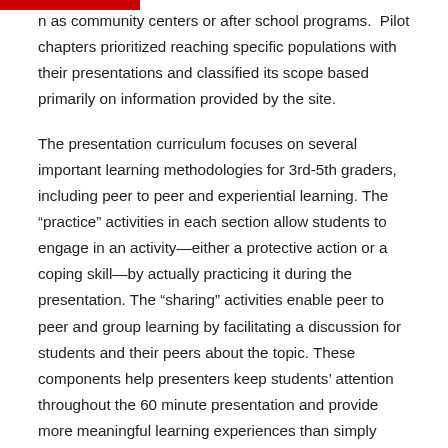n as community centers or after school programs.  Pilot chapters prioritized reaching specific populations with their presentations and classified its scope based primarily on information provided by the site.
The presentation curriculum focuses on several important learning methodologies for 3rd-5th graders, including peer to peer and experiential learning. The “practice” activities in each section allow students to engage in an activity—either a protective action or a coping skill—by actually practicing it during the presentation. The “sharing” activities enable peer to peer and group learning by facilitating a discussion for students and their peers about the topic. These components help presenters keep students’ attention throughout the 60 minute presentation and provide more meaningful learning experiences than simply